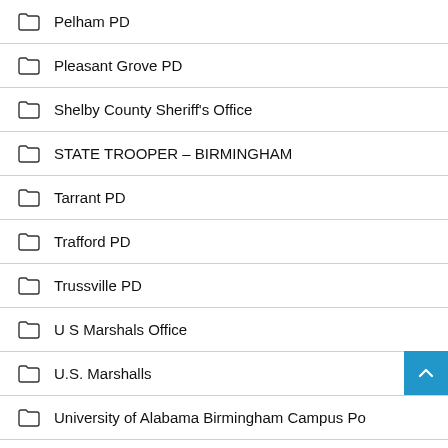Pelham PD
Pleasant Grove PD
Shelby County Sheriff's Office
STATE TROOPER – BIRMINGHAM
Tarrant PD
Trafford PD
Trussville PD
U S Marshals Office
U.S. Marshalls
University of Alabama Birmingham Campus Po
Vestavia Hills PD